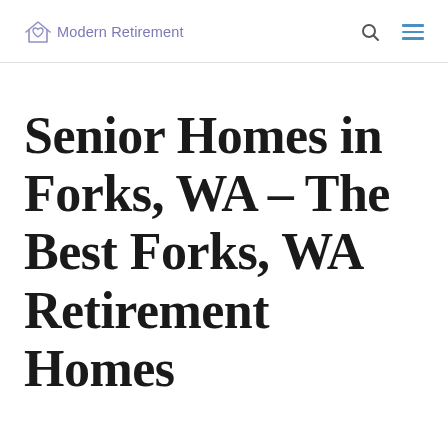Modern Retirement
Senior Homes in Forks, WA – The Best Forks, WA Retirement Homes